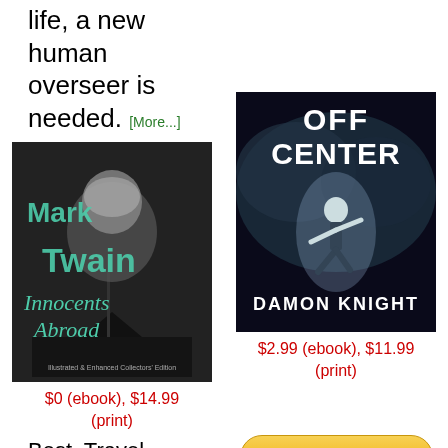life, a new human overseer is needed. [More...]
[Figure (photo): Book cover: Mark Twain Innocents Abroad, Illustrated & Enhanced Collectors' Edition]
[Figure (photo): Book cover: Off Center by Damon Knight]
$0 (ebook), $14.99 (print)
$2.99 (ebook), $11.99 (print)
Best. Travel. Book. Ever. (With all original illustrations.) Hilarious book about the first
[Figure (other): Add to Cart button]
A collection of five short stories & novels from a